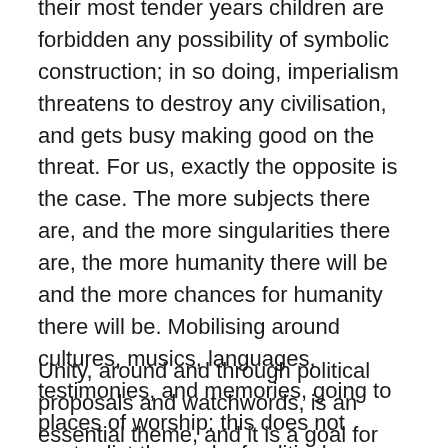their most tender years children are forbidden any possibility of symbolic construction; in so doing, imperialism threatens to destroy any civilisation, and gets busy making good on the threat. For us, exactly the opposite is the case. The more subjects there are, and the more singularities there are, the more humanity there will be and the more chances for humanity there will be. Mobilising around cultures, musics, languages, testimonies, and memories, going to places of worship: this does not contradict the work of political unification, quite the contrary. But it is not at all the same thing. Claiming that it is the same thing, or that one should rule over the other, would be catastrophic.)
Unity, around and through political proposals and watchwords, is an essential theme, and it is a goal for work that is always possible here and now, whatever the